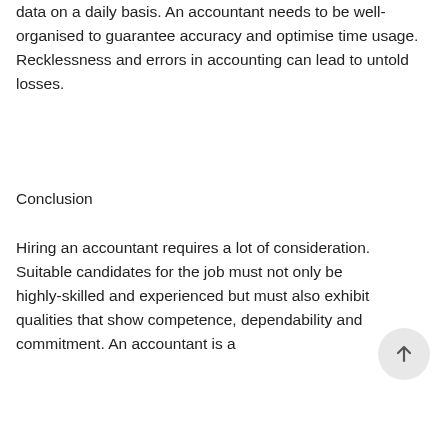data on a daily basis. An accountant needs to be well-organised to guarantee accuracy and optimise time usage. Recklessness and errors in accounting can lead to untold losses.
Conclusion
Hiring an accountant requires a lot of consideration. Suitable candidates for the job must not only be highly-skilled and experienced but must also exhibit qualities that show competence, dependability and commitment. An accountant is a